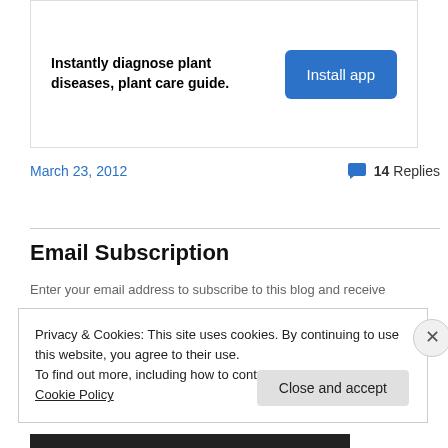[Figure (infographic): Ad banner: Instantly diagnose plant diseases, plant care guide. Install app button.]
March 23, 2012
💬 14 Replies
Email Subscription
Enter your email address to subscribe to this blog and receive
Privacy & Cookies: This site uses cookies. By continuing to use this website, you agree to their use.
To find out more, including how to control cookies, see here: Cookie Policy